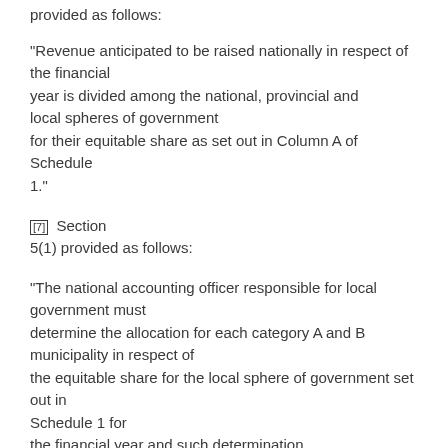provided as follows:
“Revenue anticipated to be raised nationally in respect of the financial year is divided among the national, provincial and local spheres of government for their equitable share as set out in Column A of Schedule 1.”
[7] Section 5(1) provided as follows:
“The national accounting officer responsible for local government must determine the allocation for each category A and B municipality in respect of the equitable share for the local sphere of government set out in Schedule 1 for the financial year and such determination must be published by the Minister in a Gazette by 15 May 2001.”
[8] Prayer